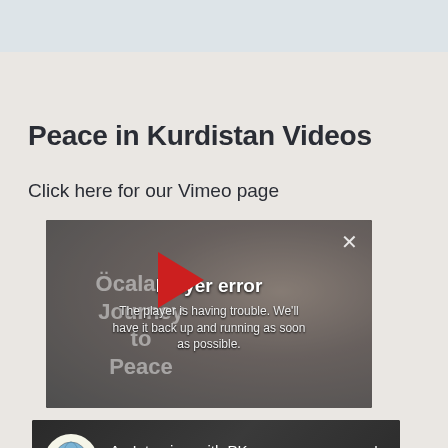Peace in Kurdistan Videos
Click here for our Vimeo page
[Figure (screenshot): Embedded video player showing Öcalan's Journey to Peace with a player error overlay: 'Player error – The player is having trouble. We'll have it back up and running as soon as possible.']
[Figure (screenshot): YouTube video thumbnail for 'An Interview with PK...' showing a globe icon, play button, and three-dot menu]